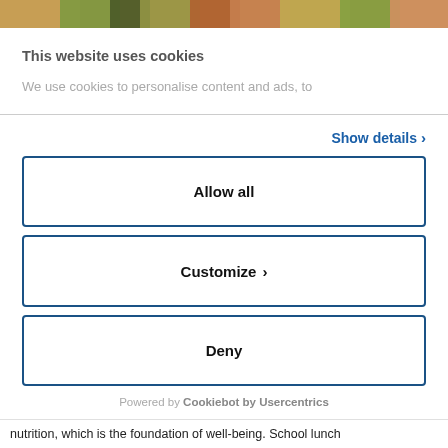[Figure (photo): Top strip showing food items — a banner image of various dishes/salads]
This website uses cookies
We use cookies to personalise content and ads, to
Show details ›
Allow all
Customize ›
Deny
Powered by Cookiebot by Usercentrics
nutrition, which is the foundation of well-being. School lunch